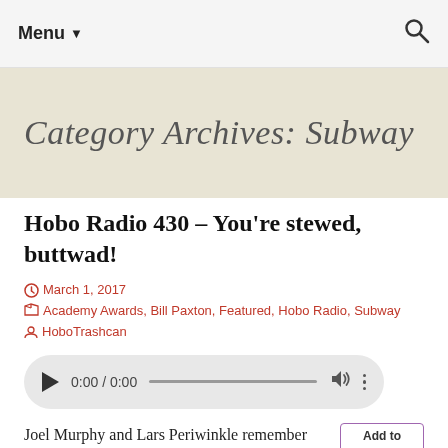Menu ▼
Category Archives: Subway
Hobo Radio 430 – You're stewed, buttwad!
March 1, 2017   Academy Awards, Bill Paxton, Featured, Hobo Radio, Subway   HoboTrashcan
[Figure (other): Audio player widget showing 0:00 / 0:00 with play button, progress bar, volume and more icons]
Joel Murphy and Lars Periwinkle remember Bill Paxton, who died unexpectedly this past
[Figure (other): Podcast thumbnail with 'Add to' text and circular podcast art in purple tones]